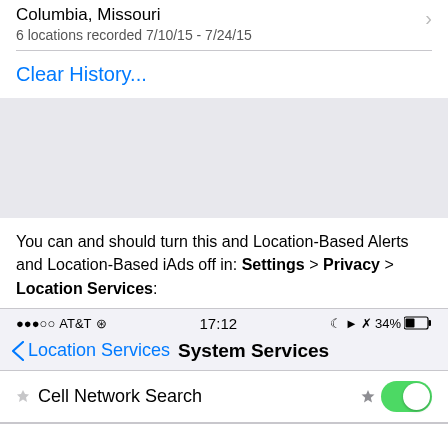Columbia, Missouri
6 locations recorded 7/10/15 - 7/24/15
Clear History...
[Figure (screenshot): Gray empty area representing a map or blank region in iOS settings]
You can and should turn this and Location-Based Alerts and Location-Based iAds off in: Settings > Privacy > Location Services:
[Figure (screenshot): iOS screenshot showing status bar with AT&T signal, Wi-Fi, time 17:12, and battery at 34%, with navigation bar showing 'Location Services' back button and 'System Services' title, and a 'Cell Network Search' toggle turned on (green)]